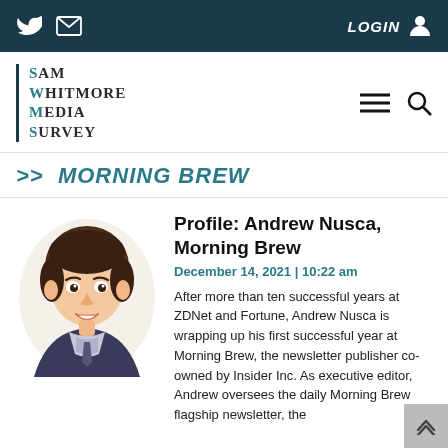LOGIN
SAM WHITMORE MEDIA SURVEY
>> MORNING BREW
[Figure (illustration): Illustrated caricature portrait of Andrew Nusca, a man in a dark jacket and checkered shirt, smiling]
Profile: Andrew Nusca, Morning Brew
December 14, 2021 | 10:22 am
After more than ten successful years at ZDNet and Fortune, Andrew Nusca is wrapping up his first successful year at Morning Brew, the newsletter publisher co-owned by Insider Inc. As executive editor, Andrew oversees the daily Morning Brew flagship newsletter, the